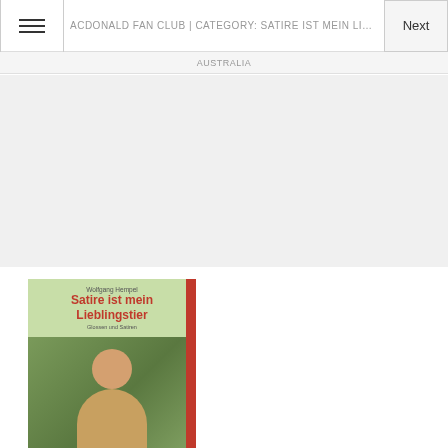ACDONALD FAN CLUB | CATEGORY: SATIRE IST MEIN LIEBLIN...
AUSTRALIA
[Figure (photo): Book cover of 'Satire ist mein Lieblingstier' by Wolfgang Hempel, showing a person outdoors in a plaid shirt with glasses, with a red spine and green background.]
Satire ist mein Lieblingstier - ...
€8.96
medimops.de
+€1.00 shipping